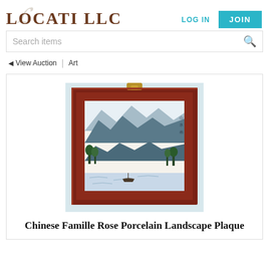LOCATI LLC
LOG IN
JOIN
Search items
◄ View Auction | Art
[Figure (photo): Chinese Famille Rose Porcelain Landscape Plaque framed in a dark rosewood frame with a brass hanger at top, featuring a painted mountain landscape with trees and water.]
Chinese Famille Rose Porcelain Landscape Plaque